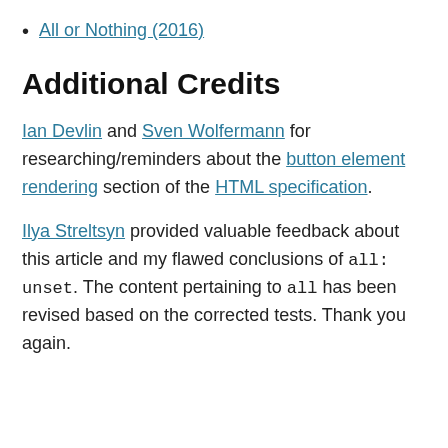All or Nothing (2016)
Additional Credits
Ian Devlin and Sven Wolfermann for researching/reminders about the button element rendering section of the HTML specification.
Ilya Streltsyn provided valuable feedback about this article and my flawed conclusions of all: unset. The content pertaining to all has been revised based on the corrected tests. Thank you again.